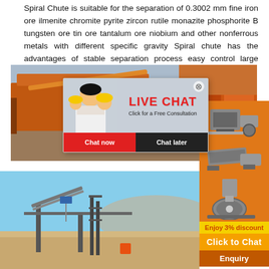Spiral Chute is suitable for the separation of 0.3002 mm fine iron ore ilmenite chromite pyrite zircon rutile monazite phosphorite B tungsten ore tin ore tantalum ore niobium and other nonferrous metals with different specific gravity Spiral chute has the advantages of stable separation process easy control large allowable range of ore concentration change high
[Figure (photo): Industrial mining/processing facility with orange equipment structures, with a live chat popup overlay showing workers in hard hats, and a sidebar showing mining machinery]
[Figure (photo): Outdoor mining/processing site with conveyor belts and equipment visible against a desert landscape and blue sky]